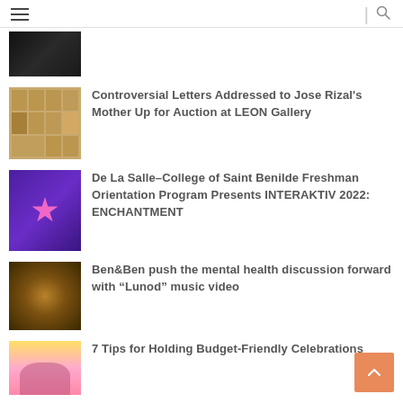Navigation header with hamburger menu and search icon
[Figure (photo): Partially visible dark photo thumbnail at top]
[Figure (photo): Grid of old letters/documents thumbnail]
Controversial Letters Addressed to Jose Rizal's Mother Up for Auction at LEON Gallery
[Figure (photo): Purple background event poster thumbnail for INTERAKTIV 2022]
De La Salle–College of Saint Benilde Freshman Orientation Program Presents INTERAKTIV 2022: ENCHANTMENT
[Figure (photo): Tunnel/corridor warmly lit thumbnail]
Ben&Ben push the mental health discussion forward with “Lunod” music video
[Figure (photo): Party celebration photo thumbnail]
7 Tips for Holding Budget-Friendly Celebrations